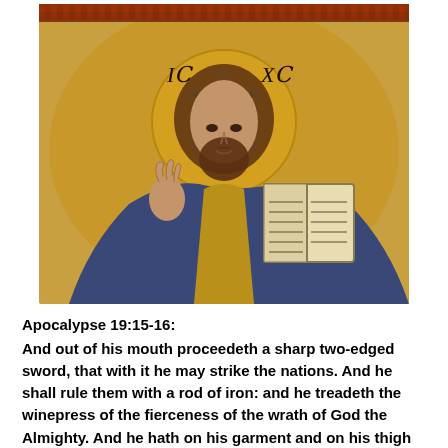[Figure (illustration): Byzantine mosaic icon of Christ Pantocrator holding an open book in his left hand and raising his right hand in blessing. Gold halo with cross behind his head, inscribed with IC XC (abbreviation for Jesus Christ). Rich colors of blue, gold, and brown robes. Greek letters visible in the background.]
Apocalypse 19:15-16:
And out of his mouth proceedeth a sharp two-edged sword, that with it he may strike the nations. And he shall rule them with a rod of iron: and he treadeth the winepress of the fierceness of the wrath of God the Almighty. And he hath on his garment and on his thigh written KING OF KINGS AND LORD OF LORDS.